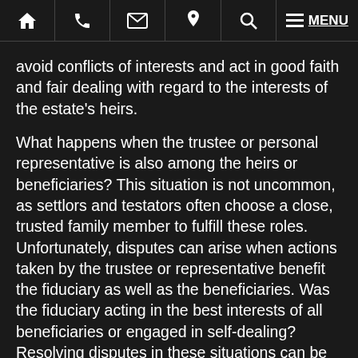Navigation bar with home, phone, mail, location, search, and MENU icons
avoid conflicts of interests and act in good faith and fair dealing with regard to the interests of the estate's heirs.
What happens when the trustee or personal representative is also among the heirs or beneficiaries? This situation is not uncommon, as settlors and testators often choose a close, trusted family member to fulfill these roles. Unfortunately, disputes can arise when actions taken by the trustee or representative benefit the fiduciary as well as the beneficiaries. Was the fiduciary acting in the best interests of all beneficiaries or engaged in self-dealing? Resolving disputes in these situations can be complex and require the assistance of an expert wills and trusts attorney.
POWERS OF ATTORNEY INVOLVE FIDUCIARY DUTIES